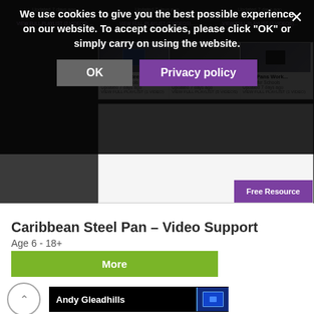[Figure (screenshot): Dark background section of educational website showing playlist cards with thumbnails, titles, and 'VIEW FULL PLAYLIST' links for Caribbean Steel Pan resources]
We use cookies to give you the best possible experience on our website. To accept cookies, please click "OK" or simply carry on using the website.
OK
Privacy policy
Free Resource
Caribbean Steel Pan – Video Support
Age 6 - 18+
More
[Figure (screenshot): Bottom thumbnail showing Andy Gleadhills educational resource with dark background and blue monitor icon]
Andy Gleadhills